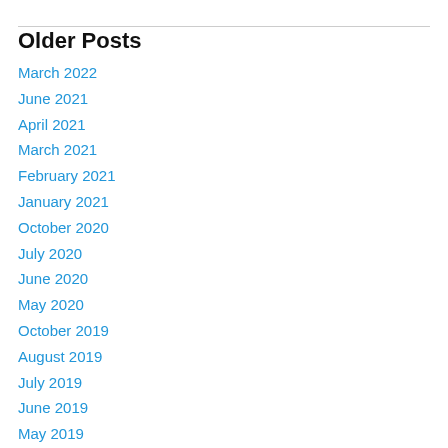Older Posts
March 2022
June 2021
April 2021
March 2021
February 2021
January 2021
October 2020
July 2020
June 2020
May 2020
October 2019
August 2019
July 2019
June 2019
May 2019
April 2019